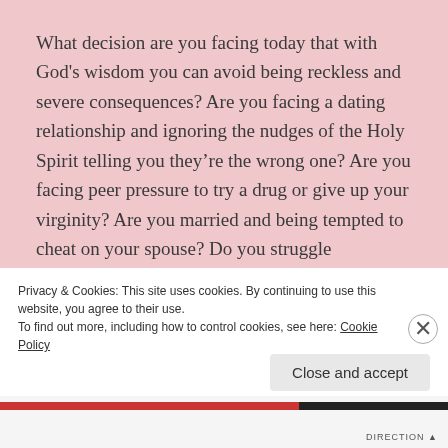What decision are you facing today that with God's wisdom you can avoid being reckless and severe consequences?  Are you facing a dating relationship and ignoring the nudges of the Holy Spirit telling you they're the wrong one?  Are you facing peer pressure to try a drug or give up your virginity?  Are you married and being tempted to cheat on your spouse?  Do you struggle financially and dealing with overspending?  Are you diabetic and craving a sugary donut?  Whatever you're facing-know this, the devil leads us into
Privacy & Cookies: This site uses cookies. By continuing to use this website, you agree to their use.
To find out more, including how to control cookies, see here: Cookie Policy
Close and accept